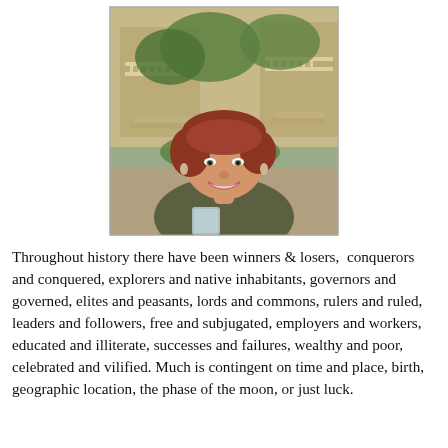[Figure (photo): A middle-aged woman with short reddish-brown hair, smiling and holding a glass, photographed outdoors in front of a building with a porch and trees in the background.]
Throughout history there have been winners & losers, conquerors and conquered, explorers and native inhabitants, governors and governed, elites and peasants, lords and commons, rulers and ruled, leaders and followers, free and subjugated, employers and workers, educated and illiterate, successes and failures, wealthy and poor, celebrated and vilified. Much is contingent on time and place, birth, geographic location, the phase of the moon, or just luck.